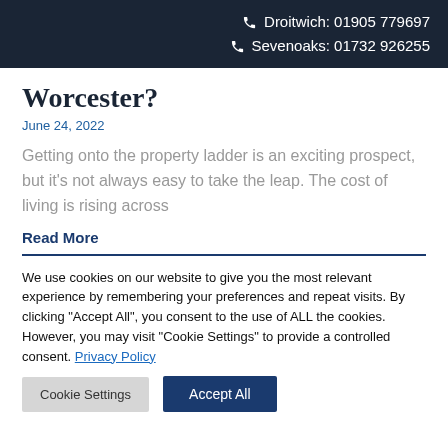Droitwich: 01905 779697
Sevenoaks: 01732 926255
Worcester?
June 24, 2022
Getting onto the property ladder is an exciting prospect, but it's not always easy to take the leap. The cost of living is rising across
Read More
We use cookies on our website to give you the most relevant experience by remembering your preferences and repeat visits. By clicking "Accept All", you consent to the use of ALL the cookies. However, you may visit "Cookie Settings" to provide a controlled consent. Privacy Policy